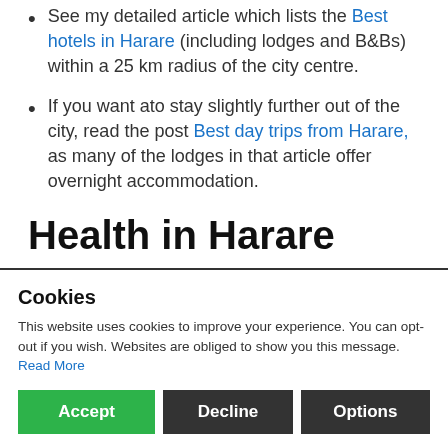See my detailed article which lists the Best hotels in Harare (including lodges and B&Bs) within a 25 km radius of the city centre.
If you want ato stay slightly further out of the city, read the post Best day trips from Harare, as many of the lodges in that article offer overnight accommodation.
Health in Harare
Malaria is not present in Harare, but it is in many other areas of the country.
Harare's tap water has been safe to drink until recently, so it is now best to drink bottled water not tap water.
Wildlife: There aren't any large wild animals in ... monkeys and (harmless) 'creepy-crawlies' around. The ... that if you stay away from them, they ...
Cookies
This website uses cookies to improve your experience. You can opt-out if you wish. Websites are obliged to show you this message. Read More
[Accept] [Decline] [Options]